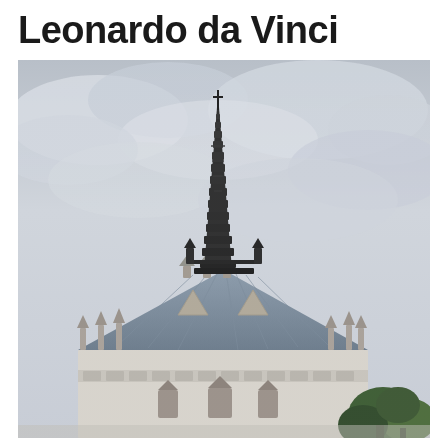Leonardo da Vinci
[Figure (photo): Photograph of a Gothic chapel or church building with a tall ornate dark spire rising against a cloudy grey sky. The building features decorative Gothic stonework, pinnacles, and a steeply pitched slate roof. Green trees are visible in the lower right corner. This appears to be the Chapelle Saint-Hubert at Amboise, France, where Leonardo da Vinci is buried.]